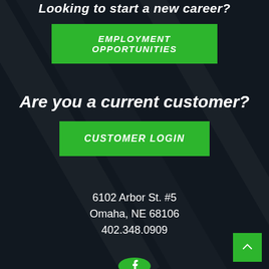Looking to start a new career?
EMPLOYMENT OPPORTUNITIES
Are you a current customer?
CUSTOMER LOGIN
6102 Arbor St. #5
Omaha, NE 68106
402.348.0909
[Figure (logo): Facebook icon circle green]
Back to top arrow button